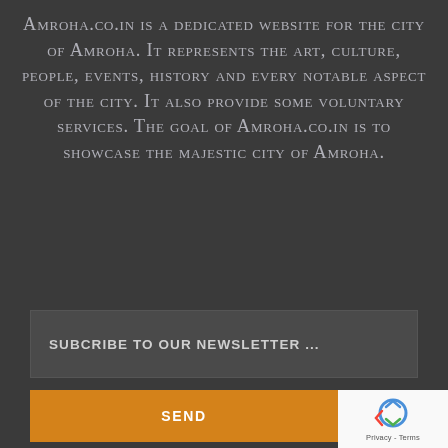Amroha.co.in is a dedicated website for the city of Amroha. It represents the art, culture, people, events, history and every notable aspect of the city. It also provide some voluntary services. The goal of Amroha.co.in is to showcase the majestic city of Amroha.
SUBCRIBE TO OUR NEWSLETTER ...
SEND